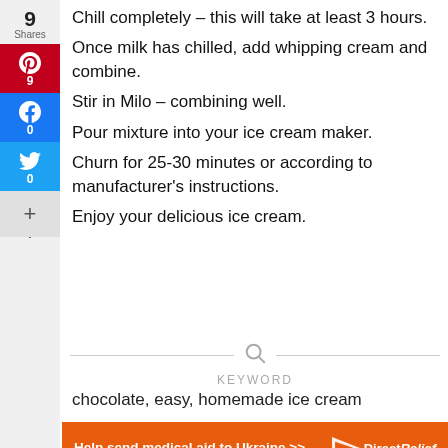Chill completely – this will take at least 3 hours.
Once milk has chilled, add whipping cream and combine.
Stir in Milo – combining well.
Pour mixture into your ice cream maker.
Churn for 25-30 minutes or according to manufacturer's instructions.
Enjoy your delicious ice cream.
KEYWORD
chocolate, easy, homemade ice cream
Help send medical aid to Ukraine >>   DirectRelief